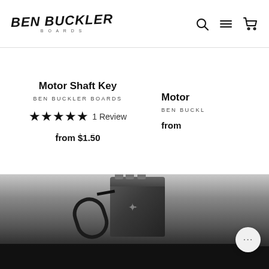BEN BUCKLER BOARDS
Motor Shaft Key
BEN BUCKLER BOARDS
★★★★★ 1 Review
from $1.50
Motor
BEN BUCKL
from
[Figure (photo): Photo of a black electric skateboard motor (cylindrical, with belt drive) on a dark background]
NEXT: LACROIX HIGH POWER MOTOP →